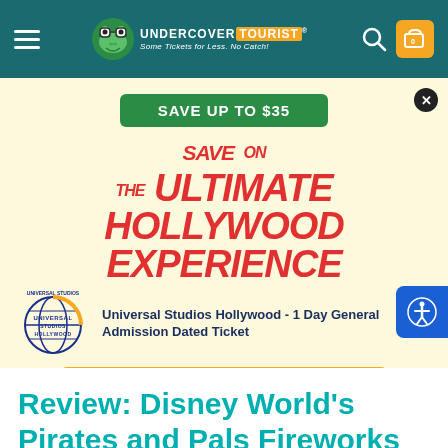Undercover Tourist — Some Tickets for Less. No Catch!
[Figure (screenshot): Undercover Tourist website header with frog mascot logo, hamburger menu, search icon, and cart icon on teal background]
[Figure (infographic): Advertisement banner with cream/yellow background. Green 'SAVE UP TO $35' badge, large red italic text 'SAVE ON THE ULTIMATE HOLLYWOOD EXPERIENCE', Universal Studios Hollywood logo, product text 'Universal Studios Hollywood - 1 Day General Admission Dated Ticket', orange 'GET MY TICKETS' button, fine print 'See ticket for more details.', accessibility button on right side, close button top right.]
Review: Disney World's Pirates and Pals Fireworks Voyage